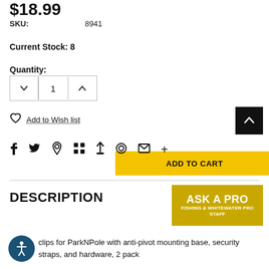$18.99
SKU: 8941
Current Stock: 8
Quantity:
ADD TO CART
Add to Wish list
[Figure (infographic): Social sharing icons: Facebook, Twitter, Pinterest, Grid, Bookmark, Heart, Email, Plus]
DESCRIPTION
[Figure (logo): ASK A PRO - FISHING & WHITEWATER PRO STAFF badge]
clips for ParkNPole with anti-pivot mounting base, security straps, and hardware, 2 pack